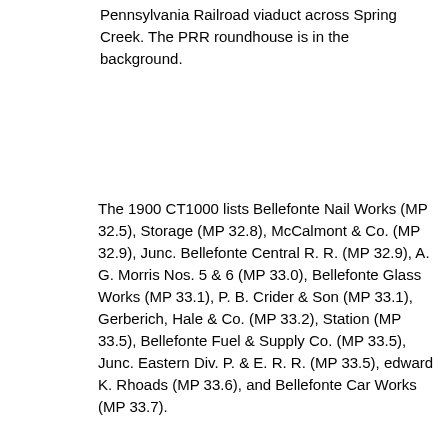Pennsylvania Railroad viaduct across Spring Creek. The PRR roundhouse is in the background.
The 1900 CT1000 lists Bellefonte Nail Works (MP 32.5), Storage (MP 32.8), McCalmont & Co. (MP 32.9), Junc. Bellefonte Central R. R. (MP 32.9), A. G. Morris Nos. 5 & 6 (MP 33.0), Bellefonte Glass Works (MP 33.1), P. B. Crider & Son (MP 33.1), Gerberich, Hale & Co. (MP 33.2), Station (MP 33.5), Bellefonte Fuel & Supply Co. (MP 33.5), Junc. Eastern Div. P. & E. R. R. (MP 33.5), edward K. Rhoads (MP 33.6), and Bellefonte Car Works (MP 33.7).
The 1923 CT1000 lists Storage (MP 32.9, Tyrone Division), Scales (MP 32.9), American Lime & Stone Co.'s Plants Nos. 29, 18, 19 & 20 (MP 32.9), Junc. Bellefonte Central R. R. (MP 33.0), American Lime & Stone Co.'s Plants Nos. 30 & 32 (MP 33.2), Gamble, Gheen & Co. (MP 33.2), Western Maryland Dairy (MP 33.2), M. J. Thomas (MP 33.3), Freight Station (MP 33.4), Passenger Station (MP 33.5), Bellefonte Fuel & Supply Co. (MP 33.5), Junc. Williamsport Div. (MP 33.6), Centre Co. Junk & Fuel Co. (MP 33.6), Sutton-Abramsen Engineering Co. (MP 33.7), Titan Metal Co,, (75.7, Williamsport Division), C. Y. Wagner & Co. (MP 75.7), Public Track (MP 76.0), Penna.